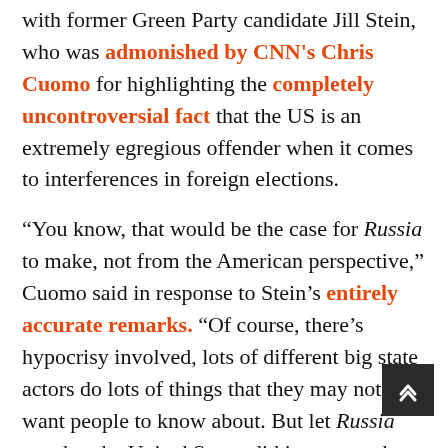with former Green Party candidate Jill Stein, who was admonished by CNN's Chris Cuomo for highlighting the completely uncontroversial fact that the US is an extremely egregious offender when it comes to interferences in foreign elections.
“You know, that would be the case for Russia to make, not from the American perspective,” Cuomo said in response to Stein’s entirely accurate remarks. “Of course, there’s hypocrisy involved, lots of different big state actors do lots of things that they may not want people to know about. But let Russia say that the United States did it to us, and here’s how they did it, so this is fair play.”